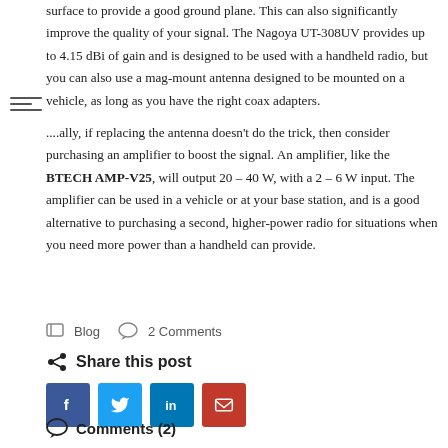surface to provide a good ground plane. This can also significantly improve the quality of your signal. The Nagoya UT-308UV provides up to 4.15 dBi of gain and is designed to be used with a handheld radio, but you can also use a mag-mount antenna designed to be mounted on a vehicle, as long as you have the right coax adapters.
...ally, if replacing the antenna doesn't do the trick, then consider purchasing an amplifier to boost the signal. An amplifier, like the BTECH AMP-V25, will output 20 – 40 W, with a 2 – 6 W input. The amplifier can be used in a vehicle or at your base station, and is a good alternative to purchasing a second, higher-power radio for situations when you need more power than a handheld can provide.
Blog  2 Comments
Share this post
Comments (2)